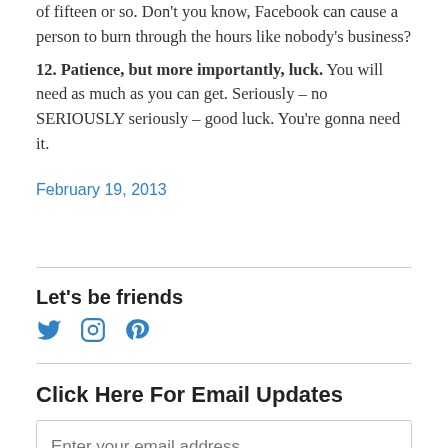of fifteen or so. Don't you know, Facebook can cause a person to burn through the hours like nobody's business?
12. Patience, but more importantly, luck. You will need as much as you can get. Seriously – no SERIOUSLY seriously – good luck. You're gonna need it.
February 19, 2013
Let's be friends
[Figure (infographic): Social media icons: Twitter bird, Instagram camera, Pinterest P in blue]
Click Here For Email Updates
Enter your email address